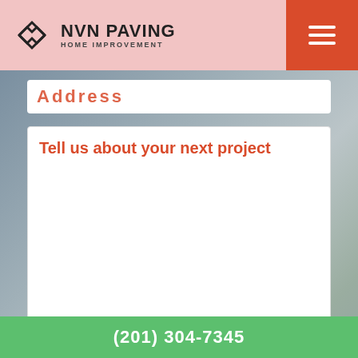NVN PAVING HOME IMPROVEMENT
Address
Tell us about your next project
Send
(201) 304-7345